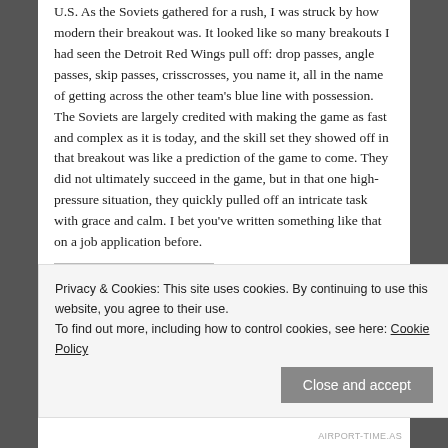U.S. As the Soviets gathered for a rush, I was struck by how modern their breakout was. It looked like so many breakouts I had seen the Detroit Red Wings pull off: drop passes, angle passes, skip passes, crisscrosses, you name it, all in the name of getting across the other team's blue line with possession. The Soviets are largely credited with making the game as fast and complex as it is today, and the skill set they showed off in that breakout was like a prediction of the game to come. They did not ultimately succeed in the game, but in that one high-pressure situation, they quickly pulled off an intricate task with grace and calm. I bet you've written something like that on a job application before.
Privacy & Cookies: This site uses cookies. By continuing to use this website, you agree to their use.
To find out more, including how to control cookies, see here: Cookie Policy
Close and accept
AIRPORT-TIME.AS